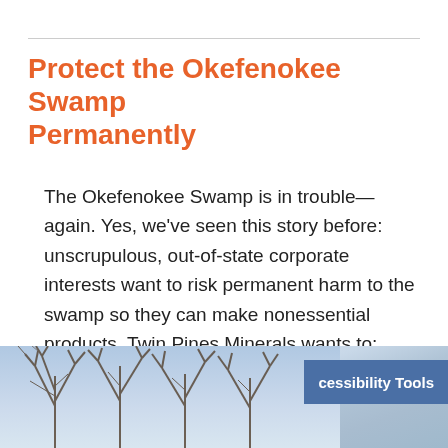Protect the Okefenokee Swamp Permanently
The Okefenokee Swamp is in trouble—again. Yes, we've seen this story before: unscrupulous, out-of-state corporate interests want to risk permanent harm to the swamp so they can make nonessential products. Twin Pines Minerals wants to: Install a 740-acre heavy mineral sand mine on the Trail Ridge. That ridge acts as a critical retaining wall for […]
[Figure (photo): Photograph of bare winter trees with branches against a blue and cloudy sky, partially overlaid by a blue 'Accessibility Tools' button in the lower right.]